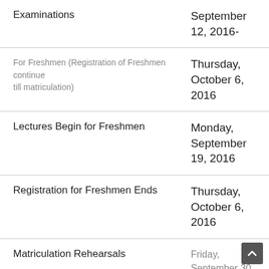| Event | Date |
| --- | --- |
| Examinations | September 12, 2016- |
| For Freshmen (Registration of Freshmen continue till matriculation) | Thursday, October 6, 2016 |
| Lectures Begin for Freshmen | Monday, September 19, 2016 |
| Registration for Freshmen Ends | Thursday, October 6, 2016 |
| Matriculation Rehearsals | Friday, September 30, |